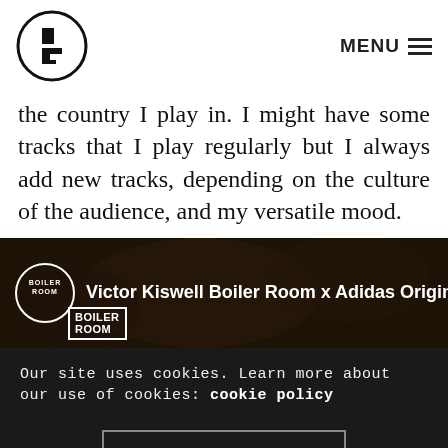MENU
the country I play in. I might have some tracks that I play regularly but I always add new tracks, depending on the culture of the audience, and my versatile mood.
[Figure (screenshot): Victor Kiswell Boiler Room x Adidas Originals Ca... video thumbnail with Boiler Room logo]
Our site uses cookies. Learn more about our use of cookies: cookie policy
ACCEPT